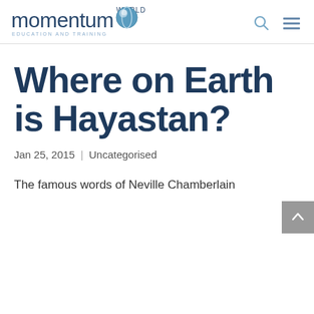Momentum World Education and Training
Where on Earth is Hayastan?
Jan 25, 2015 | Uncategorised
The famous words of Neville Chamberlain